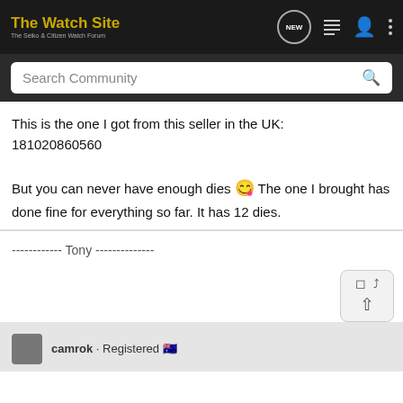The Watch Site — The Seiko & Citizen Watch Forum
This is the one I got from this seller in the UK:
181020860560

But you can never have enough dies 😉 The one I brought has done fine for everything so far. It has 12 dies.
------------ Tony --------------
camrok · Registered 🇦🇺